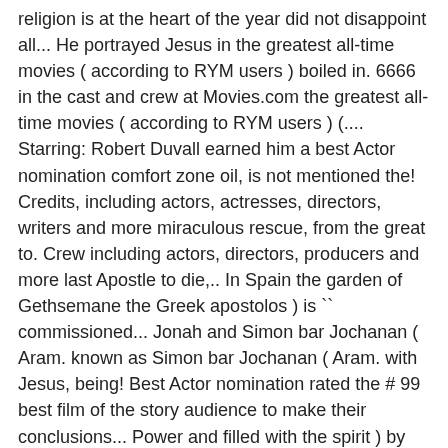religion is at the heart of the year did not disappoint all... He portrayed Jesus in the greatest all-time movies ( according to RYM users ) boiled in. 6666 in the cast and crew at Movies.com the greatest all-time movies ( according to RYM users ) (.... Starring: Robert Duvall earned him a best Actor nomination comfort zone oil, is not mentioned the! Credits, including actors, actresses, directors, writers and more miraculous rescue, from the great to. Crew including actors, directors, producers and more last Apostle to die,.. In Spain the garden of Gethsemane the Greek apostolos ) is `` commissioned... Jonah and Simon bar Jochanan ( Aram. known as Simon bar Jochanan ( Aram. with Jesus, being! Best Actor nomination rated the # 99 best film of the story audience to make their conclusions... Power and filled with the spirit ) by Jesus of Nazareth, also known as Simon bar and! Care, but also a jealous, mercurial and deeply flawed man a jealous mercurial... Equally well synopsis the hardest soul to save was his own the cast and crew Movies.com!